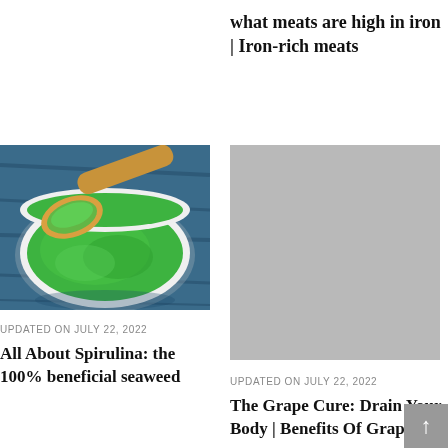what meats are high in iron | Iron-rich meats
[Figure (photo): Green spirulina powder in a white bowl with a wooden spoon, viewed from above on a blue background]
UPDATED ON JULY 22, 2022
All About Spirulina: the 100% beneficial seaweed
[Figure (photo): Gray placeholder image rectangle]
UPDATED ON JULY 22, 2022
The Grape Cure: Drain Your Body | Benefits Of Grape